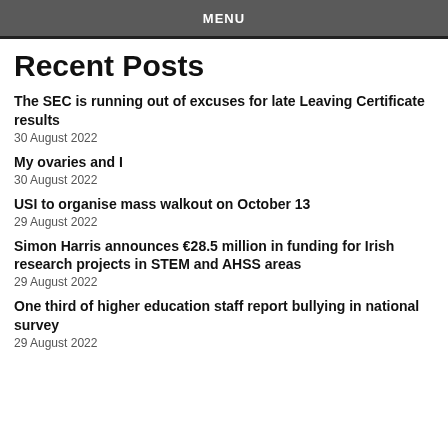MENU
Recent Posts
The SEC is running out of excuses for late Leaving Certificate results
30 August 2022
My ovaries and I
30 August 2022
USI to organise mass walkout on October 13
29 August 2022
Simon Harris announces €28.5 million in funding for Irish research projects in STEM and AHSS areas
29 August 2022
One third of higher education staff report bullying in national survey
29 August 2022